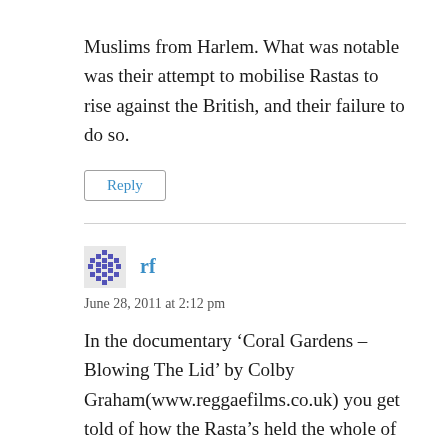Muslims from Harlem. What was notable was their attempt to mobilise Rastas to rise against the British, and their failure to do so.
Reply
rf
June 28, 2011 at 2:12 pm
In the documentary ‘Coral Gardens – Blowing The Lid’ by Colby Graham(www.reggaefilms.co.uk) you get told of how the Rasta’s held the whole of Kingston under siege and took over the whole city at one point! maybe this was the rebellion.